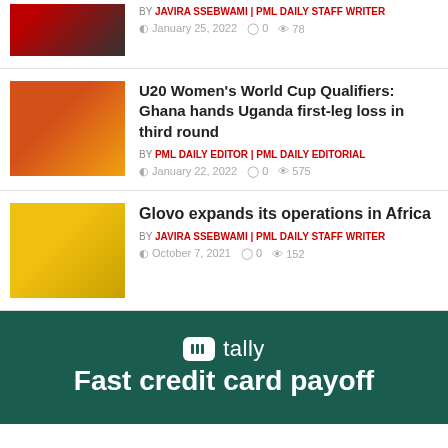[Figure (photo): Partial photo of a man in suit and tie, cropped at top]
BY JAVIRA SSEBWAMI | PML DAILY STAFF WRITER
January 25, 2022  0  78
[Figure (photo): Soccer players on field, women's match]
U20 Women's World Cup Qualifiers: Ghana hands Uganda first-leg loss in third round
BY PML DAILY EDITOR | PML DAILY EDITORIAL
January 22, 2022  0  575
[Figure (photo): Man in Glovo delivery gear with yellow bag]
Glovo expands its operations in Africa
BY JAVIRA SSEBWAMI | PML DAILY STAFF WRITER
October 7, 2021  0  152
[Figure (logo): Tally app advertisement banner - Fast credit card payoff]